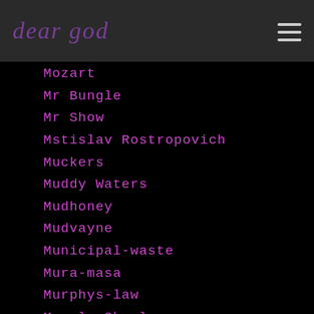dear god
Mozart
Mr Bungle
Mr Show
Mstislav Rostropovich
Muckers
Muddy Waters
Mudhoney
Mudvayne
Municipal-waste
Mura-masa
Murphys-law
Muscle Shoals
Museum Of Pop Culture
Music Production
Music-production
Mutato-muzika
Mutemath